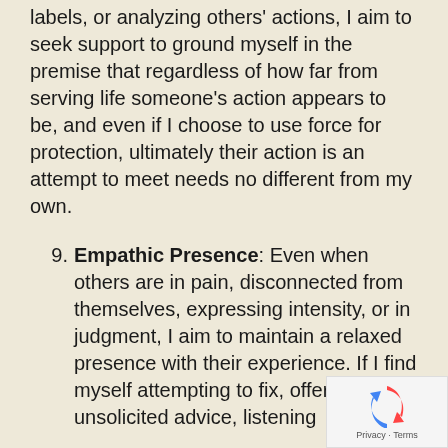labels, or analyzing others' actions, I aim to seek support to ground myself in the premise that regardless of how far from serving life someone's action appears to be, and even if I choose to use force for protection, ultimately their action is an attempt to meet needs no different from my own.
9. Empathic Presence: Even when others are in pain, disconnected from themselves, expressing intensity, or in judgment, I aim to maintain a relaxed presence with their experience. If I find myself attempting to fix, offering unsolicited advice, listening